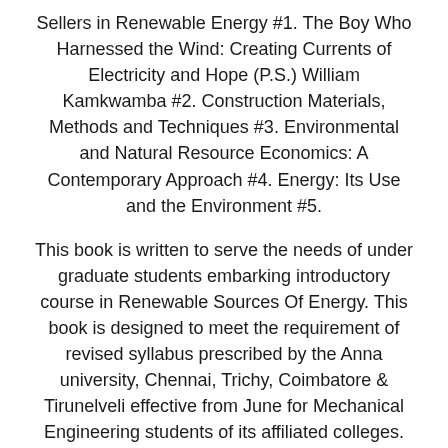Sellers in Renewable Energy #1. The Boy Who Harnessed the Wind: Creating Currents of Electricity and Hope (P.S.) William Kamkwamba #2. Construction Materials, Methods and Techniques #3. Environmental and Natural Resource Economics: A Contemporary Approach #4. Energy: Its Use and the Environment #5.
This book is written to serve the needs of under graduate students embarking introductory course in Renewable Sources Of Energy. This book is designed to meet the requirement of revised syllabus prescribed by the Anna university, Chennai, Trichy, Coimbatore & Tirunelveli effective from June for Mechanical Engineering students of its affiliated colleges. The best books on Renewable Energy recommended by Juliet Davenport. The chief executive of Good Energy says we need to think big if we want to cut our use of high carbon energy. She